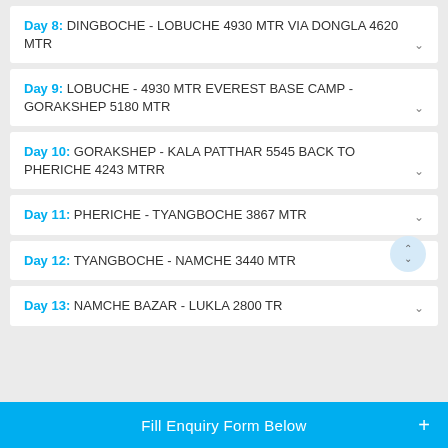Day 8: DINGBOCHE - LOBUCHE 4930 MTR VIA DONGLA 4620 MTR
Day 9: LOBUCHE - 4930 MTR EVEREST BASE CAMP - GORAKSHEP 5180 MTR
Day 10: GORAKSHEP - KALA PATTHAR 5545 BACK TO PHERICHE 4243 MTRR
Day 11: PHERICHE - TYANGBOCHE 3867 MTR
Day 12: TYANGBOCHE - NAMCHE 3440 MTR
Day 13: NAMCHE BAZAR - LUKLA 2800 TR
Fill Enquiry Form Below